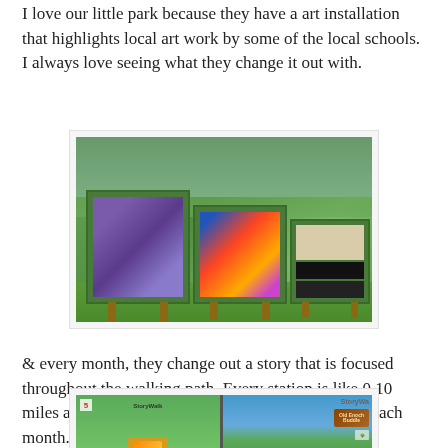I love our little park because they have a art installation that highlights local art work by some of the local schools. I always love seeing what they change it out with.
[Figure (photo): Outdoor art installation in a park showing green display boards mounted on wooden posts with various artworks displayed on them, set against a background of grass and trees.]
& every month, they change out a story that is focused throughout the walking path. Every station is like 0.10 miles apart & I actually love reading the new story each month.
[Figure (photo): Two StoryWalk signs/boards in a park setting. Left image shows a StoryWalk station numbered 5 with illustrated content. Right image shows a StoryWalk header sign with colorful nature illustration and 'StoryWa...' text visible.]